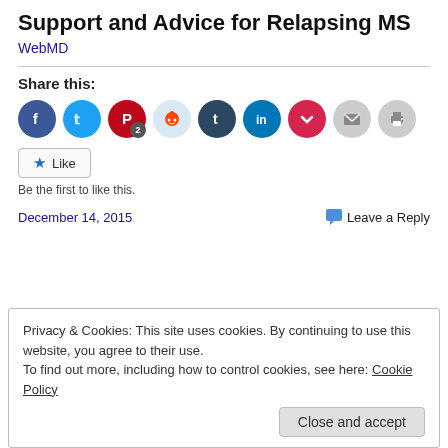Support and Advice for Relapsing MS
WebMD
Share this:
[Figure (infographic): Social sharing icons: Facebook, Twitter, Pinterest (with badge 2), Reddit, Tumblr, LinkedIn, Pocket, Email, Print]
Like
Be the first to like this.
December 14, 2015
Leave a Reply
Privacy & Cookies: This site uses cookies. By continuing to use this website, you agree to their use.
To find out more, including how to control cookies, see here: Cookie Policy
Close and accept